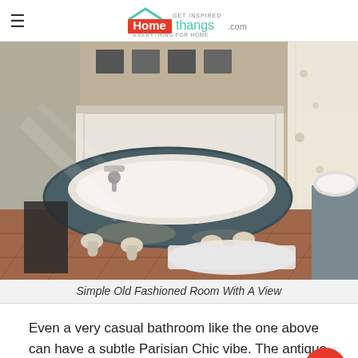Homethangs.com — GET INSPIRED / EVERYTHING FOR HOME
[Figure (photo): A clawfoot bathtub painted dark teal/grey with white claw feet sits in a vintage bathroom with terracotta tile floors, a white bath mat, a floral shower curtain, and a vessel sink partially visible on the right.]
Simple Old Fashioned Room With A View
Even a very casual bathroom like the one above can have a subtle Parisian Chic vibe. The antique Clawfoot Tub goes a long way toward creating a Paris-like ambiance all by itself.